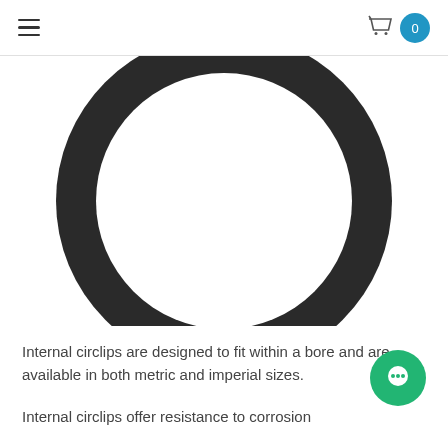Navigation bar with hamburger menu and shopping cart with 0 items
[Figure (photo): Close-up photo of a black internal circlip (retaining ring) — a large ring shape with thick cross-section, shown against a white background. The bottom portion is cropped.]
Internal circlips are designed to fit within a bore and are available in both metric and imperial sizes.
Internal circlips offer resistance to corrosion